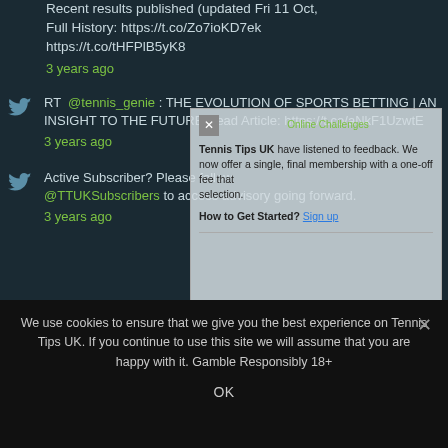Recent results published (updated Fri 11 Oct, Full History: https://t.co/Zo7ioKD7ek https://t.co/tHFPlB5yK8
3 years ago
RT @tennis_genie : THE EVOLUTION OF SPORTS BETTING | AN INSIGHT TO THE FUTURE Read Article: https://t.co/aNkF1UzwtE
3 years ago
Active Subscriber? Please follow @TTUKSubscribers to access advisory going forward.
3 years ago
[Figure (screenshot): Popup overlay with Tennis Tips UK promotional text about membership and a link to get started, with a close X button]
We use cookies to ensure that we give you the best experience on Tennis Tips UK. If you continue to use this site we will assume that you are happy with it. Gamble Responsibly 18+
OK